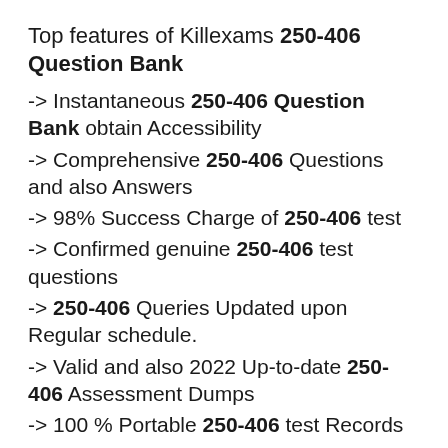Top features of Killexams 250-406 Question Bank
-> Instantaneous 250-406 Question Bank obtain Accessibility
-> Comprehensive 250-406 Questions and also Answers
-> 98% Success Charge of 250-406 test
-> Confirmed genuine 250-406 test questions
-> 250-406 Queries Updated upon Regular schedule.
-> Valid and also 2022 Up-to-date 250-406 Assessment Dumps
-> 100 % Portable 250-406 test Records
-> Full highlighted 250-406 VCE test Sim